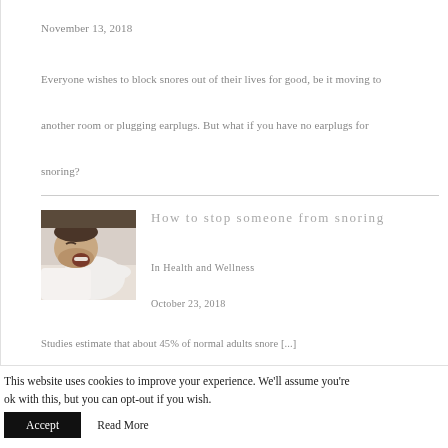November 13, 2018
Everyone wishes to block snores out of their lives for good, be it moving to another room or plugging earplugs. But what if you have no earplugs for snoring?
[Figure (photo): A man sleeping with his mouth open, snoring, lying in bed with white pillow and sheets]
How to stop someone from snoring
In Health and Wellness
October 23, 2018
Studies estimate that about 45% of normal adults snore [...]
This website uses cookies to improve your experience. We'll assume you're ok with this, but you can opt-out if you wish.